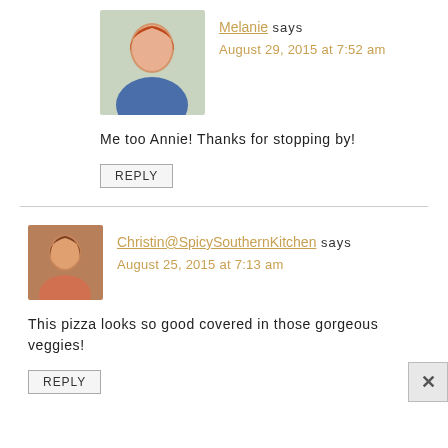[Figure (photo): Avatar photo of Melanie, woman with red hair and blue outfit]
Melanie says
August 29, 2015 at 7:52 am
Me too Annie! Thanks for stopping by!
REPLY
[Figure (photo): Avatar photo of Christin, smiling woman with brown hair]
Christin@SpicySouthernKitchen says
August 25, 2015 at 7:13 am
This pizza looks so good covered in those gorgeous veggies!
REPLY